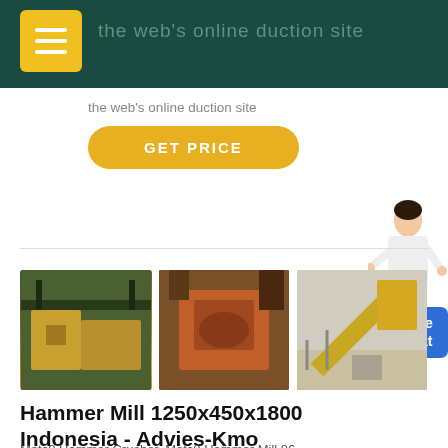the web's online duction site
GET PRICE
[Figure (photo): Three photos of yellow industrial hammer mill / crusher machinery in outdoor and industrial settings]
Hammer Mill 1250x450x1800 Indonesia - Advies-Kmo
Metc0 Hammer Crusher, Metc0 Hammer Mill 96